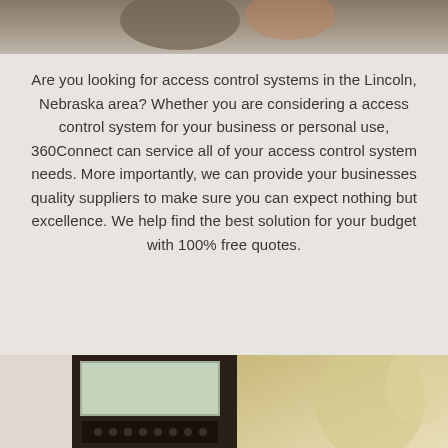[Figure (photo): Partial photo at top of page showing blurred objects, cropped]
Are you looking for access control systems in the Lincoln, Nebraska area? Whether you are considering a access control system for your business or personal use, 360Connect can service all of your access control system needs. More importantly, we can provide your businesses quality suppliers to make sure you can expect nothing but excellence. We help find the best solution for your budget with 100% free quotes.
[Figure (photo): Photo at bottom showing access control keypad device on the left and blurred background on the right]